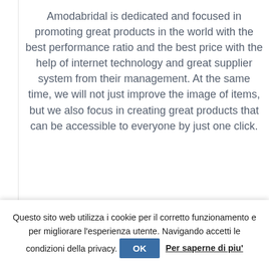Amodabridal is dedicated and focused in promoting great products in the world with the best performance ratio and the best price with the help of internet technology and great supplier system from their management. At the same time, we will not just improve the image of items, but we also focus in creating great products that can be accessible to everyone by just one click.
Be it a cocktail party, a business event or a
Questo sito web utilizza i cookie per il corretto funzionamento e per migliorare l'esperienza utente. Navigando accetti le condizioni della privacy. OK Per saperne di piu'